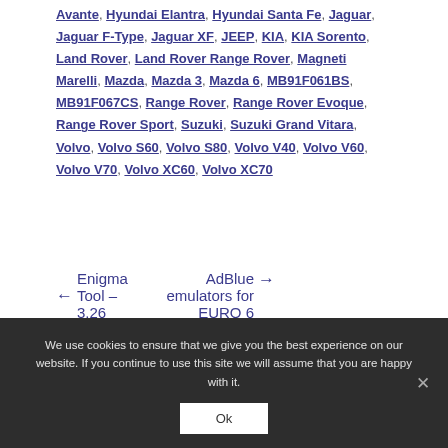Avante, Hyundai Elantra, Hyundai Santa Fe, Jaguar, Jaguar F-Type, Jaguar XF, JEEP, KIA, KIA Sorento, Land Rover, Land Rover Range Rover, Magneti Marelli, Mazda, Mazda 3, Mazda 6, MB91F061BS, MB91F067CS, Range Rover, Range Rover Evoque, Range Rover Sport, Suzuki, Suzuki Grand Vitara, Volvo, Volvo S60, Volvo S80, Volvo V40, Volvo V60, Volvo V70, Volvo XC60, Volvo XC70
← Enigma Tool – 3.26
AdBlue emulators for EURO 6 trucks discounted →
We use cookies to ensure that we give you the best experience on our website. If you continue to use this site we will assume that you are happy with it.